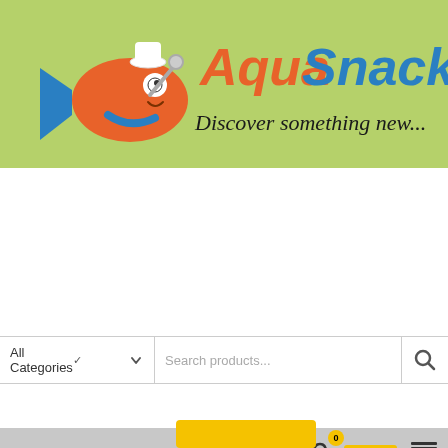[Figure (logo): AquaSnack logo with cartoon fish chef on green background. Text reads 'AquaSnack' in red and blue, with tagline 'Discover something new...' in dark cursive script.]
[Figure (screenshot): Search bar UI with 'All Categories' dropdown with chevron, 'Search products...' placeholder text, and a search icon button on the right.]
[Figure (screenshot): Navigation bar with user profile icon, shopping bag icon with badge showing '0', yellow price button showing '£0.00', and MENU hamburger icon.]
[Figure (photo): Close-up photo of a red Betta fish (Giant A Grade Betta Male) with flowing red fins against a black background, with a circular magnifying glass icon overlay.]
[Figure (screenshot): Product notification popup showing small thumbnail of Betta fish, product name 'Giant A Grade Betta (Male)', price £26.99, red X close button, and partial yellow add to cart button.]